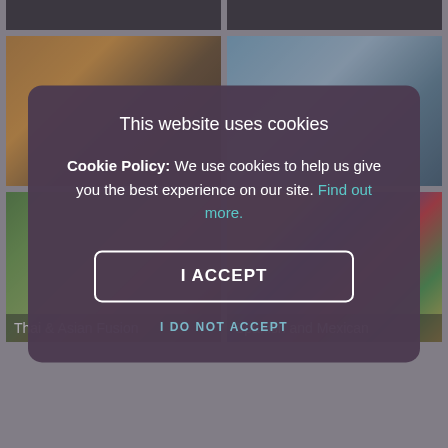[Figure (screenshot): Background showing a restaurant website with a 2x2 grid of food/restaurant images. Top row: dark cropped images. Middle row: cocktail drinks being poured (warm tones), modern restaurant interior with plants and pendant lights. Bottom row: Thai and Asian Fusion food dish, colorful Spanish/Mexican tiles.]
This website uses cookies
Cookie Policy: We use cookies to help us give you the best experience on our site. Find out more.
I ACCEPT
I DO NOT ACCEPT